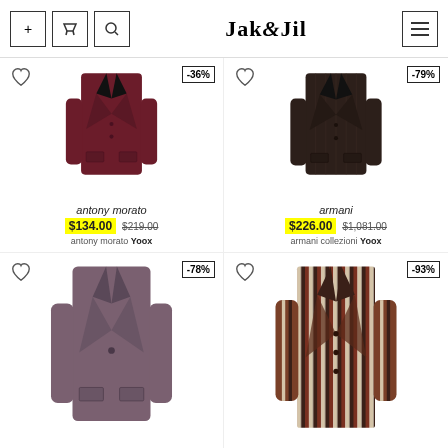Jak&Jil
[Figure (photo): Antony Morato dark red/burgundy slim fit blazer jacket, -36% discount badge]
antony morato
$134.00 $219.00
antony morato Yoox
[Figure (photo): Armani dark brown pinstripe slim fit blazer jacket, -79% discount badge]
armani
$226.00 $1,081.00
armani collezioni Yoox
[Figure (photo): Purple/mauve slim fit single-button blazer jacket, -78% discount badge]
[Figure (photo): Brown striped long coat/blazer jacket, -93% discount badge]